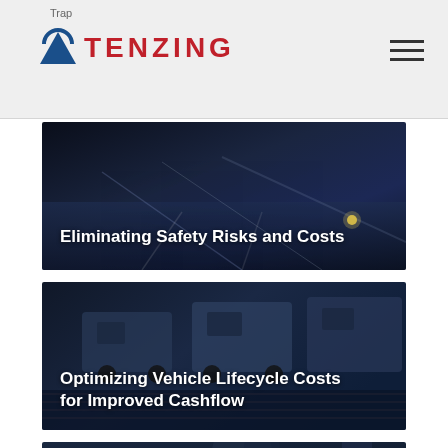Trap
[Figure (logo): Tenzing logo with mountain icon and red bold TENZING text]
[Figure (photo): Dark blue tinted image of a highway/road at night with text overlay: Eliminating Safety Risks and Costs]
Eliminating Safety Risks and Costs
[Figure (photo): Dark blue tinted image of white delivery vans/fleet vehicles with text overlay: Optimizing Vehicle Lifecycle Costs for Improved Cashflow]
Optimizing Vehicle Lifecycle Costs for Improved Cashflow
[Figure (photo): Dark blue tinted image of industrial machinery/pipes with partial text overlay: Pumping Up Profits for a...]
Pumping Up Profits for a